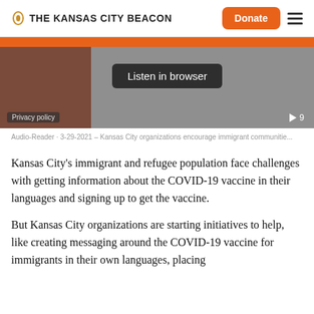THE KANSAS CITY BEACON
[Figure (screenshot): Audio player embed with orange top bar, listen in browser button, privacy policy label, and play indicator showing 9]
Audio-Reader · 3-29-2021 – Kansas City organizations encourage immigrant communitie...
Kansas City's immigrant and refugee population face challenges with getting information about the COVID-19 vaccine in their languages and signing up to get the vaccine.
But Kansas City organizations are starting initiatives to help, like creating messaging around the COVID-19 vaccine for immigrants in their own languages, placing